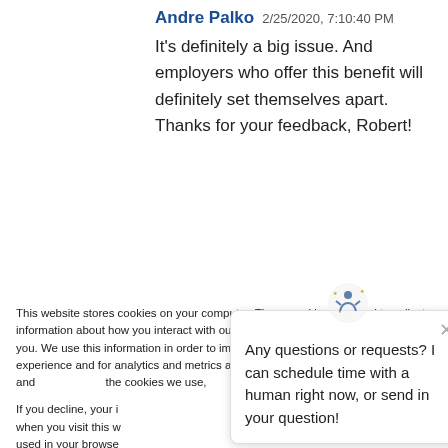Andre Palko 2/25/2020, 7:10:40 PM
It's definitely a big issue. And employers who offer this benefit will definitely set themselves apart. Thanks for your feedback, Robert!
This website stores cookies on your computer. These cookies are used to collect information about how you interact with our website and allow us to remember you. We use this information in order to improve and customize your browsing experience and for analytics and metrics about our visitors both on this website and the cookies we use,
If you decline, your i when you visit this w used in your browse not to be tracked.
[Figure (other): Chat popup with logo icon showing 'Any questions or requests? I can schedule time with a human right now, or send in your question!']
Accept
Decline